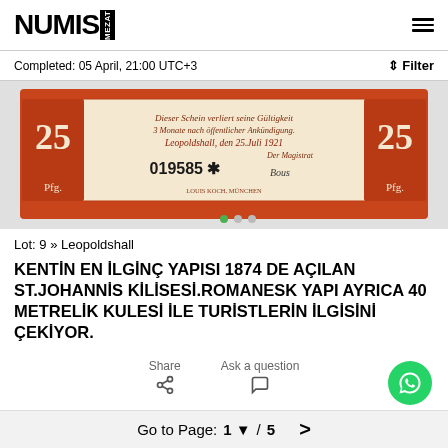NUMIS MEZAT
Completed: 05 April, 21:00 UTC+3
[Figure (photo): A German Notgeld banknote from Leopoldshall, denomination 25 Pfennig, serial number 019585, dated 25 Juli 1921, orange/red color]
Lot: 9 » Leopoldshall
KENTİN EN İLGİNÇ YAPISI 1874 DE AÇILAN ST.JOHANNİS KİLİSESİ.ROMANESK YAPI AYRICA 40 METRELİK KULESİ İLE TURİSTLERİN İLGİSİNİ ÇEKİYOR.
Share
Ask a question
Go to Page: 1 ▼ / 5 >